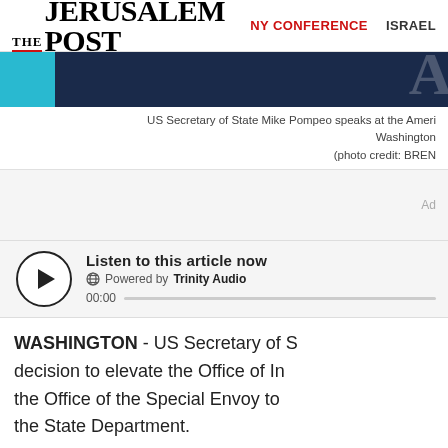THE JERUSALEM POST  NY CONFERENCE  ISRAEL
[Figure (photo): Photo of US Secretary of State Mike Pompeo speaking at an event, with a cyan block on the left and a large letter A visible on the dark background on the right.]
US Secretary of State Mike Pompeo speaks at the Ameri Washington (photo credit: BREN
Ad
Listen to this article now  Powered by Trinity Audio  00:00
WASHINGTON - US Secretary of S decision to elevate the Office of In the Office of the Special Envoy to the State Department.